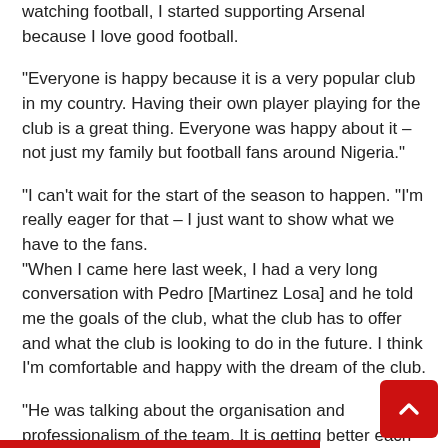watching football, I started supporting Arsenal because I love good football.
“Everyone is happy because it is a very popular club in my country. Having their own player playing for the club is a great thing. Everyone was happy about it – not just my family but football fans around Nigeria.”
“I can’t wait for the start of the season to happen. “I’m really eager for that – I just want to show what we have to the fans.
“When I came here last week, I had a very long conversation with Pedro [Martinez Losa] and he told me the goals of the club, what the club has to offer and what the club is looking to do in the future. I think I’m comfortable and happy with the dream of the club.
“He was talking about the organisation and professionalism of the team. It is getting better each year. Thecoming years are going to be far better.”
The 21 year-old striker spent the 2015 season with Liverpool, where she became the first player from Africa to feature in the Women’s